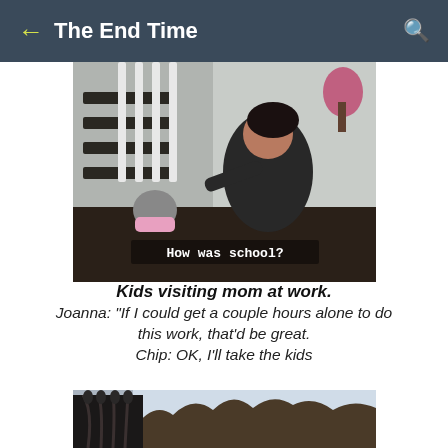← The End Time 🔍
[Figure (photo): Video screenshot showing a woman crouching down toward a small child in a pink tutu at the bottom of a staircase. Subtitle text reads: How was school?]
Kids visiting mom at work.
Joanna: "If I could get a couple hours alone to do this work, that'd be great.
Chip: OK, I'll take the kids
[Figure (photo): Partial screenshot showing what appears to be an outdoor scene with trees and wrought iron railing.]